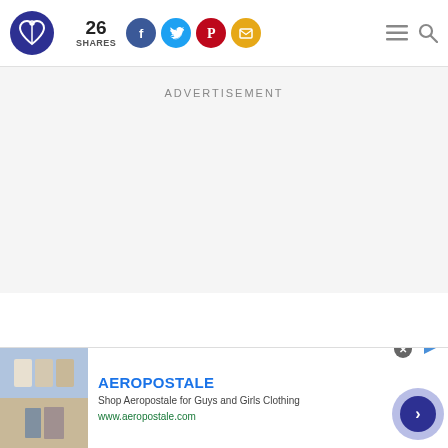[Figure (logo): Circular dark blue logo with a heart and infinity/needle design in white]
26 SHARES
[Figure (infographic): Social share icons: Facebook (blue circle), Twitter (light blue circle), Pinterest (red circle), Email (gold circle)]
[Figure (infographic): Navigation icons: hamburger menu and search magnifying glass]
ADVERTISEMENT
AEROPOSTALE
Shop Aeropostale for Guys and Girls Clothing
www.aeropostale.com